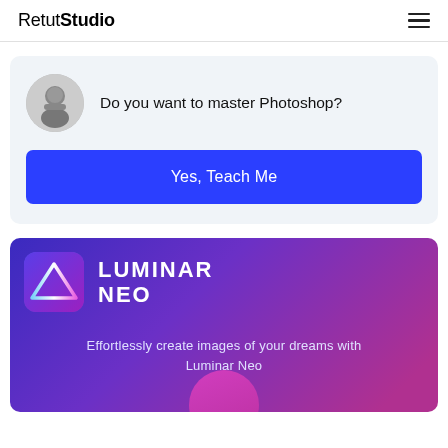RetutStudio
Do you want to master Photoshop?
Yes, Teach Me
[Figure (screenshot): Luminar Neo promotional banner with logo icon, wordmark LUMINAR NEO, and tagline 'Effortlessly create images of your dreams with Luminar Neo' on a purple-to-pink gradient background]